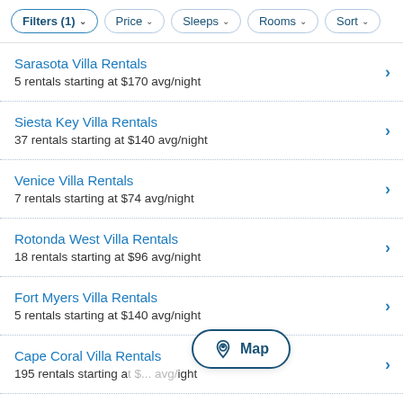Filters (1) Price Sleeps Rooms Sort
Sarasota Villa Rentals
5 rentals starting at $170 avg/night
Siesta Key Villa Rentals
37 rentals starting at $140 avg/night
Venice Villa Rentals
7 rentals starting at $74 avg/night
Rotonda West Villa Rentals
18 rentals starting at $96 avg/night
Fort Myers Villa Rentals
5 rentals starting at $140 avg/night
Cape Coral Villa Rentals
195 rentals starting at ... /night
Naples Villa Rentals
[Figure (other): Map button overlay with location pin icon and text 'Map']